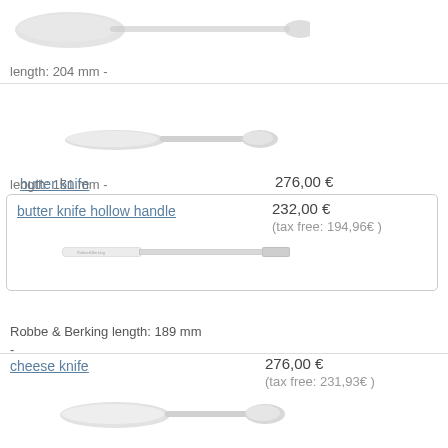[Figure (photo): Partial view of silver cutlery (spoon/fork) at top of page]
length: 204 mm -
butter knife
276,00 €
(tax free: 231,93€ )
[Figure (photo): Silver butter knife utensil photo]
length: 151 mm -
butter knife hollow handle
232,00 €
(tax free: 194,96€ )
[Figure (photo): Silver butter knife hollow handle utensil photo]
Robbe & Berking length: 189 mm
-
cheese knife
276,00 €
(tax free: 231,93€ )
[Figure (photo): Silver cheese knife utensil photo]